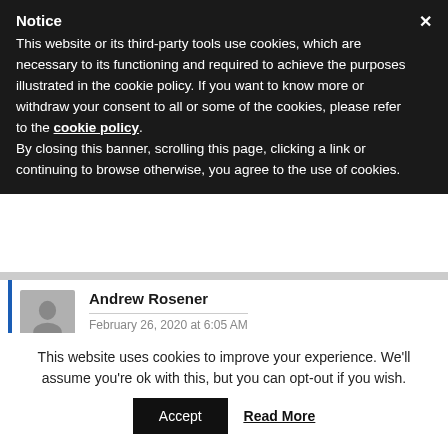Notice
This website or its third-party tools use cookies, which are necessary to its functioning and required to achieve the purposes illustrated in the cookie policy. If you want to know more or withdraw your consent to all or some of the cookies, please refer to the cookie policy.
By closing this banner, scrolling this page, clicking a link or continuing to browse otherwise, you agree to the use of cookies.
Andrew Rosener
February 26, 2020 at 6:05 AM
Steve! Great idea. But coordinating a filming is hard enough – live filming would be a disaster.
But I do have some ideas in the pipeline that are in that
This website uses cookies to improve your experience. We'll assume you're ok with this, but you can opt-out if you wish.
Accept   Read More